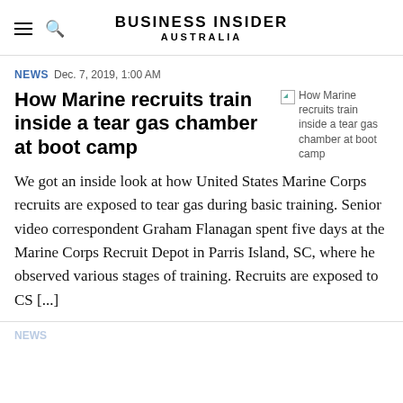BUSINESS INSIDER AUSTRALIA
NEWS Dec. 7, 2019, 1:00 AM
How Marine recruits train inside a tear gas chamber at boot camp
[Figure (photo): Thumbnail image: How Marine recruits train inside a tear gas chamber at boot camp]
We got an inside look at how United States Marine Corps recruits are exposed to tear gas during basic training. Senior video correspondent Graham Flanagan spent five days at the Marine Corps Recruit Depot in Parris Island, SC, where he observed various stages of training. Recruits are exposed to CS [...]
NEWS